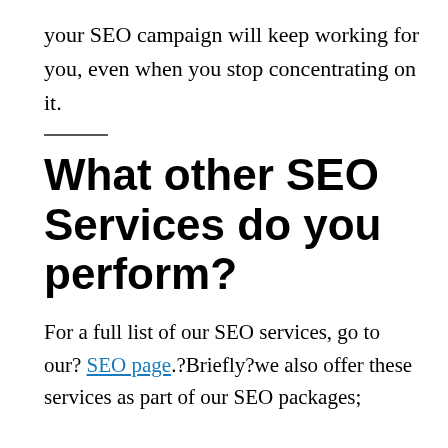your SEO campaign will keep working for you, even when you stop concentrating on it.
What other SEO Services do you perform?
For a full list of our SEO services, go to our? SEO page.?Briefly?we also offer these services as part of our SEO packages;